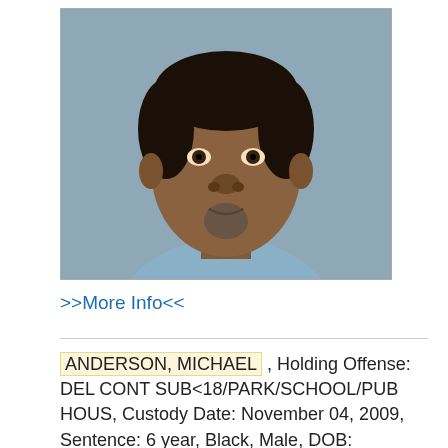[Figure (photo): Mugshot photo of a Black male, middle-aged, wearing a light blue shirt, against a blue-gray background. Subject has short hair and a gray-flecked goatee.]
>>More Info<<
ANDERSON, MICHAEL , Holding Offense: DEL CONT SUB<18/PARK/SCHOOL/PUB HOUS, Custody Date: November 04, 2009, Sentence: 6 year, Black, Male, DOB: September